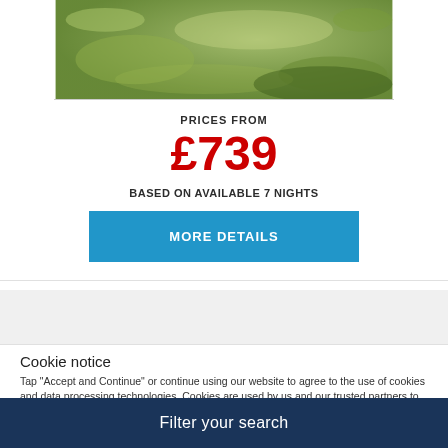[Figure (photo): Aerial/ground view of a grass field, green and brown patchy lawn]
PRICES FROM
£739
BASED ON AVAILABLE 7 NIGHTS
MORE DETAILS
Cookie notice
Tap "Accept and Continue" or continue using our website to agree to the use of cookies and data processing technologies. Cookies are used by us and our trusted partners to provide necessary website functionality, analyse, personalise and enhance your experience on this website as well as to deliver tailored holiday-related ads on other websites.
Filter your search